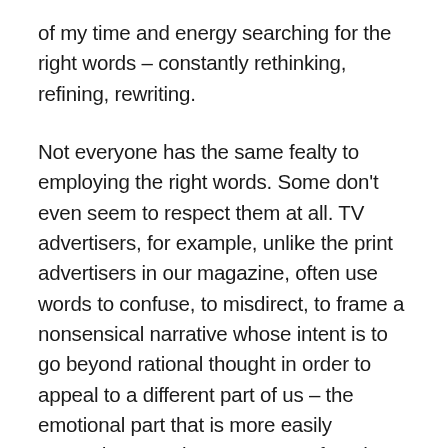of my time and energy searching for the right words – constantly rethinking, refining, rewriting.
Not everyone has the same fealty to employing the right words. Some don't even seem to respect them at all. TV advertisers, for example, unlike the print advertisers in our magazine, often use words to confuse, to misdirect, to frame a nonsensical narrative whose intent is to go beyond rational thought in order to appeal to a different part of us – the emotional part that is more easily swayed; to convince us, more often than not, to purchase something that we may not really need, or, in fact,